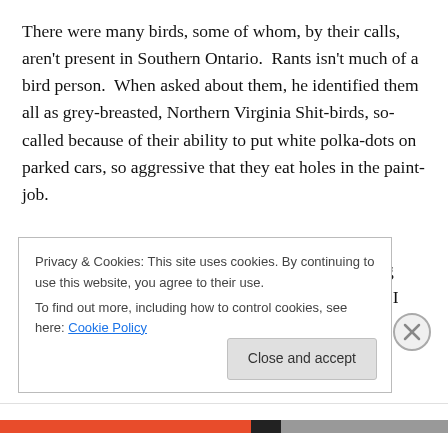There were many birds, some of whom, by their calls, aren't present in Southern Ontario.  Rants isn't much of a bird person.  When asked about them, he identified them all as grey-breasted, Northern Virginia Shit-birds, so-called because of their ability to put white polka-dots on parked cars, so aggressive that they eat holes in the paint-job.
I love birds.  In my de-forested area, both the bright Blue-Jays and Cardinals are skittish creatures, hiding high in trees, sometimes heard, but seldom seen.  As I watched Rants at his forge in the garage, a Blue-Jay landed on a
Privacy & Cookies: This site uses cookies. By continuing to use this website, you agree to their use.
To find out more, including how to control cookies, see here: Cookie Policy
Close and accept